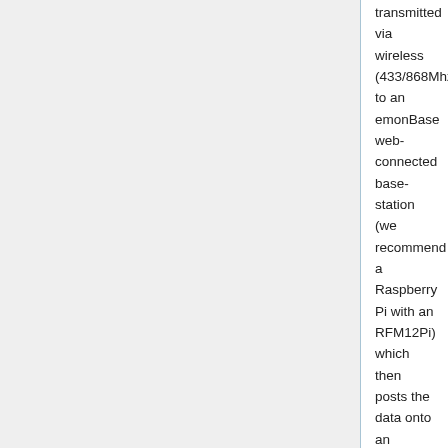transmitted via wireless (433/868Mhz) to an emonBase web-connected base-station (we recommend a Raspberry Pi with an RFM12Pi) which then posts the data onto an emoncms server (e.g. emoncms.org) for logging, processing and graphing.
The main board of the emonTx V3 comes pre-assembled, just requiring the addition of the RFu328 and optionally a battery holder added to get going. However if the 'fully-built' option has been selected in the emonTx V3 Bundle Builder then the emonTx V3 will come with the Rfu328 already fitted (using Xbee style 2mm headers) and with firmware ready uploaded. If this is the case skip to step 3 below.
Power Supply Options